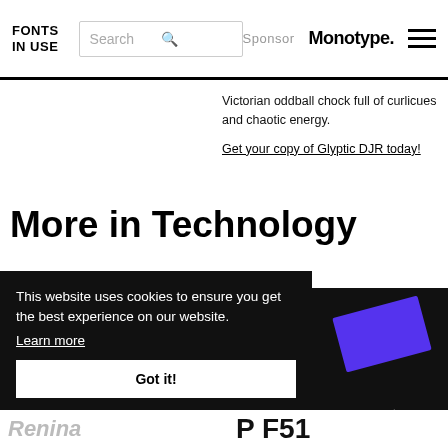FONTS IN USE | Search | Sponsor Monotype.
Victorian oddball chock full of curlicues and chaotic energy.
Get your copy of Glyptic DJR today!
More in Technology
[Figure (photo): Person wearing a black t-shirt with pink star burst graphic and white text reading 'The internet was once a']
[Figure (photo): Dark background with a purple/violet rectangular card tilted at an angle, and text 'chaser' below it]
This website uses cookies to ensure you get the best experience on our website.
Learn more
Got it!